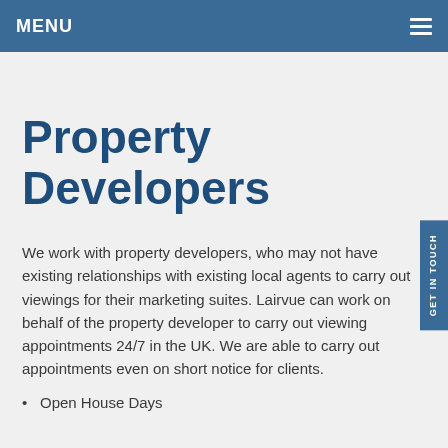MENU
Property Developers
We work with property developers, who may not have existing relationships with existing local agents to carry out viewings for their marketing suites.  Lairvue can work on behalf of the property developer to carry out viewing appointments 24/7 in the UK.  We are able to carry out appointments even on short notice for clients.
Open House Days